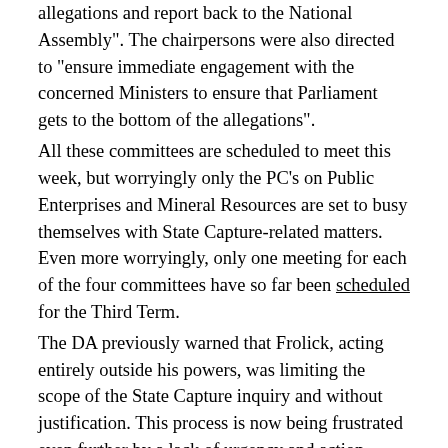allegations and report back to the National Assembly". The chairpersons were also directed to “ensure immediate engagement with the concerned Ministers to ensure that Parliament gets to the bottom of the allegations".
All these committees are scheduled to meet this week, but worryingly only the PC’s on Public Enterprises and Mineral Resources are set to busy themselves with State Capture-related matters. Even more worryingly, only one meeting for each of the four committees have so far been scheduled for the Third Term.
The DA previously warned that Frolick, acting entirely outside his powers, was limiting the scope of the State Capture inquiry and without justification. This process is now being frustrated even further by a lack of urgency and action.
Parliament is best placed to deal with State Capture and is empowered to identify perpetrators, including those in